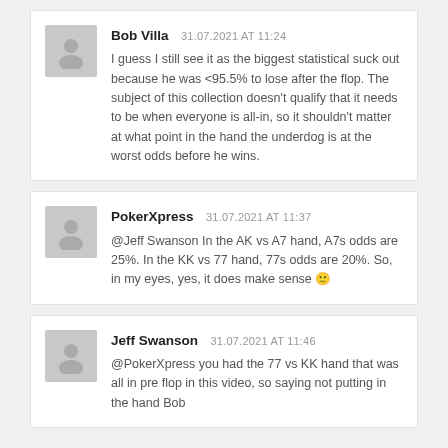Bob Villa  31.07.2021 AT 11:24
I guess I still see it as the biggest statistical suck out because he was <95.5% to lose after the flop. The subject of this collection doesn't qualify that it needs to be when everyone is all-in, so it shouldn't matter at what point in the hand the underdog is at the worst odds before he wins.
PokerXpress  31.07.2021 AT 11:37
@Jeff Swanson In the AK vs A7 hand, A7s odds are 25%. In the KK vs 77 hand, 77s odds are 20%. So, in my eyes, yes, it does make sense 🙂
Jeff Swanson  31.07.2021 AT 11:46
@PokerXpress you had the 77 vs KK hand that was all in pre flop in this video, so saying not putting in the hand Bob